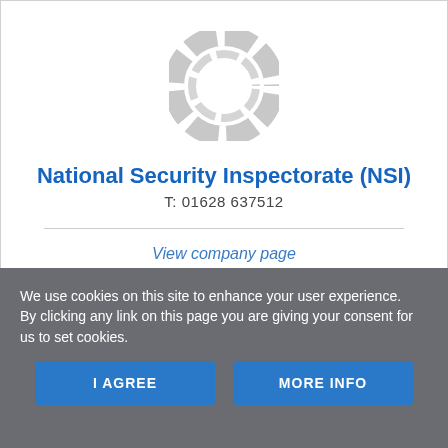[Figure (logo): NSI circular logo in light grey, consisting of concentric ring shapes]
National Security Inspectorate (NSI)
T: 01628 637512
View company page
We use cookies on this site to enhance your user experience.
By clicking any link on this page you are giving your consent for us to set cookies.
I AGREE
MORE INFO